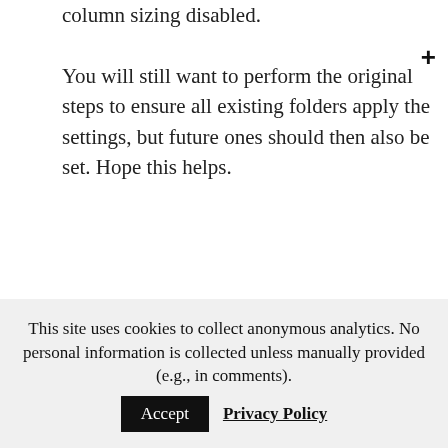column sizing disabled. You will still want to perform the original steps to ensure all existing folders apply the settings, but future ones should then also be set. Hope this helps.
[Figure (illustration): A circular avatar icon with an olive/dark green background and a blue pixel-art robot or character figure in the center]
This site uses cookies to collect anonymous analytics. No personal information is collected unless manually provided (e.g., in comments).